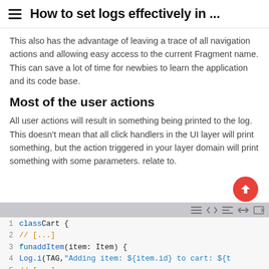≡ How to set logs effectively in ...
This also has the advantage of leaving a trace of all navigation actions and allowing easy access to the current Fragment name. This can save a lot of time for newbies to learn the application and its code base.
Most of the user actions
All user actions will result in something being printed to the log. This doesn't mean that all click handlers in the UI layer will print something, but the action triggered in your layer domain will print something with some parameters. relate to.
[Figure (screenshot): Code block showing Kotlin class Cart with addItem function and Log.i call. Lines 1-5 visible: 1: class Cart {, 2:     // [...], 3:     fun addItem(item: Item) {, 4:         Log.i(TAG,"Adding item: ${item.id} to cart: ${t, 5:     // [...]]